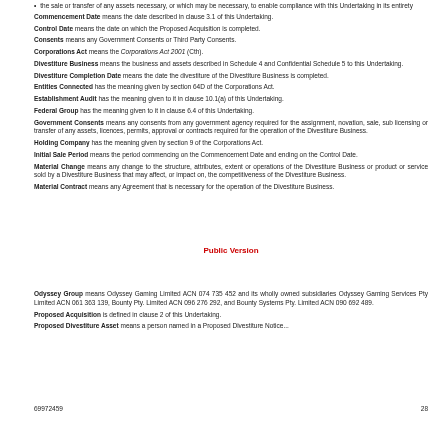the sale or transfer of any assets necessary, or which may be necessary, to enable compliance with this Undertaking in its entirety
Commencement Date means the date described in clause 3.1 of this Undertaking.
Control Date means the date on which the Proposed Acquisition is completed.
Consents means any Government Consents or Third Party Consents.
Corporations Act means the Corporations Act 2001 (Cth).
Divestiture Business means the business and assets described in Schedule 4 and Confidential Schedule 5 to this Undertaking.
Divestiture Completion Date means the date the divestiture of the Divestiture Business is completed.
Entities Connected has the meaning given by section 64D of the Corporations Act.
Establishment Audit has the meaning given to it in clause 10.1(a) of this Undertaking.
Federal Group has the meaning given to it in clause 6.4 of this Undertaking.
Government Consents means any consents from any government agency required for the assignment, novation, sale, sub licensing or transfer of any assets, licences, permits, approval or contracts required for the operation of the Divestiture Business.
Holding Company has the meaning given by section 9 of the Corporations Act.
Initial Sale Period means the period commencing on the Commencement Date and ending on the Control Date.
Material Change means any change to the structure, attributes, extent or operations of the Divestiture Business or product or service sold by a Divestiture Business that may affect, or impact on, the competitiveness of the Divestiture Business.
Material Contract means any Agreement that is necessary for the operation of the Divestiture Business.
69972459                                                                                                               28
Public Version
Odyssey Group means Odyssey Gaming Limited ACN 074 735 452 and its wholly owned subsidiaries Odyssey Gaming Services Pty Limited ACN 061 363 139, Bounty Pty. Limited ACN 096 276 292, and Bounty Systems Pty. Limited ACN 090 692 489.
Proposed Acquisition is defined in clause 2 of this Undertaking.
Proposed Divestiture Asset means a person named in a Proposed Divestiture Notice...